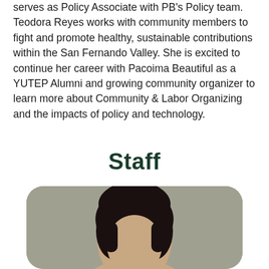serves as Policy Associate with PB's Policy team. Teodora Reyes works with community members to fight and promote healthy, sustainable contributions within the San Fernando Valley. She is excited to continue her career with Pacoima Beautiful as a YUTEP Alumni and growing community organizer to learn more about Community & Labor Organizing and the impacts of policy and technology.
Staff
[Figure (photo): Portrait photo of a person with dark hair against a gray background, shown from the shoulders up, cropped at the bottom of the image.]